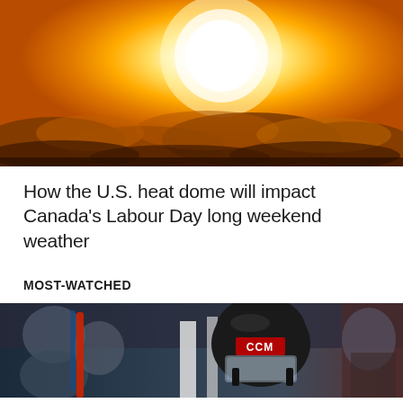[Figure (photo): A dramatic golden sunset with a large bright white sun and clouds silhouetted against an orange sky]
How the U.S. heat dome will impact Canada's Labour Day long weekend weather
MOST-WATCHED
[Figure (photo): A hockey player wearing a black CCM helmet with a face shield, photographed at a hockey rink with spectators in the background]